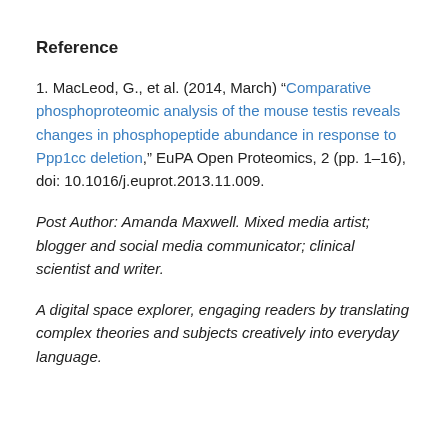Reference
1. MacLeod, G., et al. (2014, March) “Comparative phosphoproteomic analysis of the mouse testis reveals changes in phosphopeptide abundance in response to Ppp1cc deletion,” EuPA Open Proteomics, 2 (pp. 1–16), doi: 10.1016/j.euprot.2013.11.009.
Post Author: Amanda Maxwell. Mixed media artist; blogger and social media communicator; clinical scientist and writer.
A digital space explorer, engaging readers by translating complex theories and subjects creatively into everyday language.